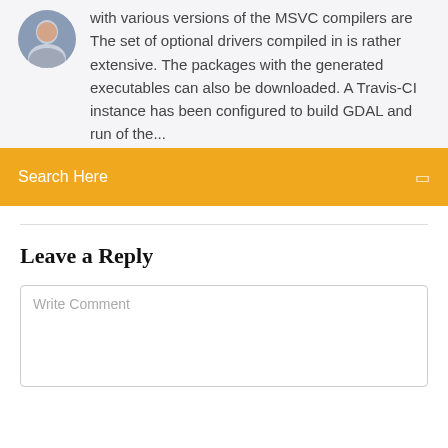with various versions of the MSVC compilers are The set of optional drivers compiled in is rather extensive. The packages with the generated executables can also be downloaded. A Travis-CI instance has been configured to build GDAL and run of the...
Search Here
Leave a Reply
Write Comment